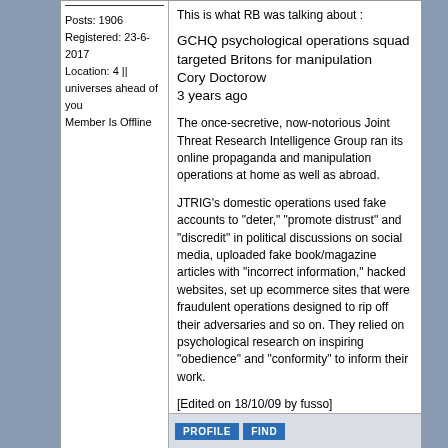Posts: 1906
Registered: 23-6-2017
Location: 4 || universes ahead of you
Member Is Offline
This is what RB was talking about :
GCHQ psychological operations squad targeted Britons for manipulation
Cory Doctorow
3 years ago
The once-secretive, now-notorious Joint Threat Research Intelligence Group ran its online propaganda and manipulation operations at home as well as abroad.
JTRIG's domestic operations used fake accounts to "deter," "promote distrust" and "discredit" in political discussions on social media, uploaded fake book/magazine articles with "incorrect information," hacked websites, set up ecommerce sites that were fraudulent operations designed to rip off their adversaries and so on. They relied on psychological research on inspiring "obedience" and "conformity" to inform their work.
[Edited on 18/10/09 by fusso]